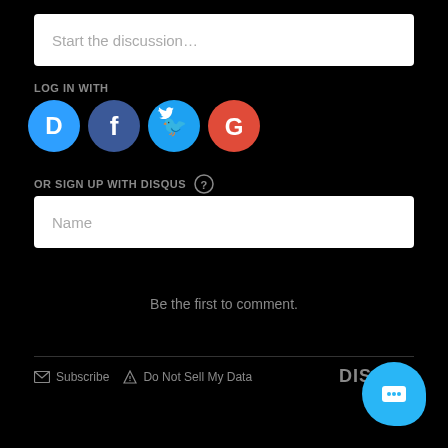Start the discussion…
LOG IN WITH
[Figure (illustration): Social login icons: Disqus (blue circle with D), Facebook (dark blue circle with f), Twitter (light blue circle with bird), Google (red circle with G)]
OR SIGN UP WITH DISQUS ?
Name
Be the first to comment.
Subscribe  Do Not Sell My Data   DISQUS